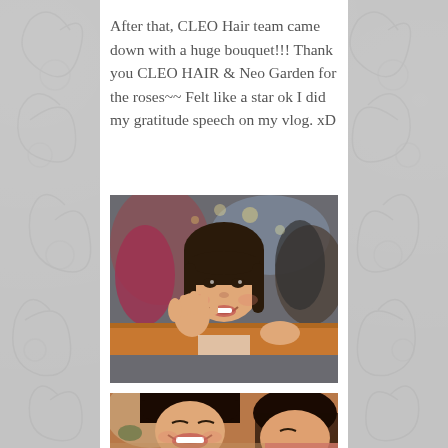After that, CLEO Hair team came down with a huge bouquet!!! Thank you CLEO HAIR & Neo Garden for the roses~~ Felt like a star ok I did my gratitude speech on my vlog. xD
[Figure (photo): A young Asian child peeking over a wooden table, waving at the camera with people in the background in a restaurant or event setting]
[Figure (photo): A young Asian girl smiling, partially cropped, with another child visible at the right edge, in a social gathering setting]